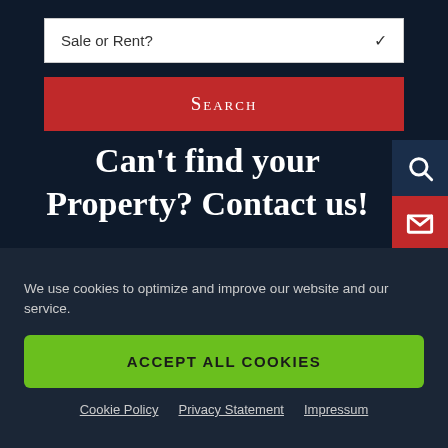Sale or Rent?
SEARCH
Can't find your Property? Contact us!
We use cookies to optimize and improve our website and our service.
ACCEPT ALL COOKIES
Cookie Policy  Privacy Statement  Impressum